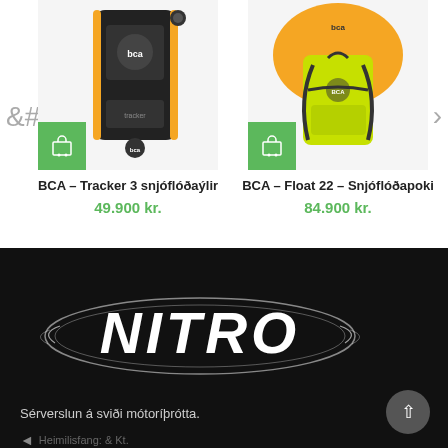[Figure (photo): BCA Tracker 3 avalanche transceiver device, black and orange, shown from front/top view]
BCA – Tracker 3 snjóflóðaýlir
49.900 kr.
[Figure (photo): BCA Float 22 avalanche airbag backpack in bright yellow-green with orange airbag deployed]
BCA – Float 22 – Snjóflóðapoki
84.900 kr.
[Figure (logo): NITRO logo in white stylized text with speed lines on black background]
Sérverslun á sviði mótoríþrótta.